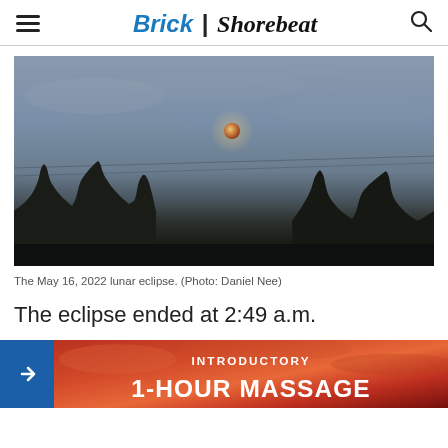Brick | Shorebeat
[Figure (photo): Night sky photograph showing a lunar eclipse on May 16, 2022. A partially eclipsed moon glows orange-red in a grey-blue cloudy sky. Tree silhouettes are visible at the bottom, and power lines cross diagonally through the frame.]
The May 16, 2022 lunar eclipse. (Photo: Daniel Nee)
The eclipse ended at 2:49 a.m.
[Figure (other): Advertisement banner with red/orange dramatic sky background showing 'INTRODUCTORY 1-HOUR MASSAGE' text in white.]